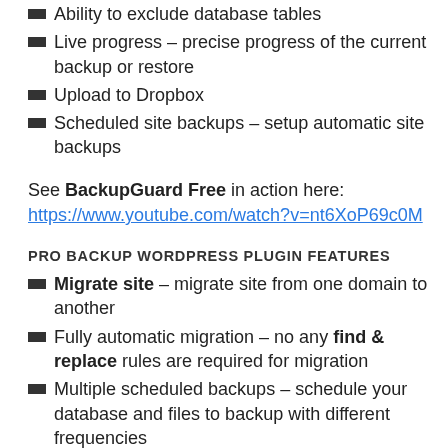Ability to exclude database tables
Live progress – precise progress of the current backup or restore
Upload to Dropbox
Scheduled site backups – setup automatic site backups
See BackupGuard Free in action here: https://www.youtube.com/watch?v=nt6XoP69c0M
PRO BACKUP WORDPRESS PLUGIN FEATURES
Migrate site – migrate site from one domain to another
Fully automatic migration – no any find & replace rules are required for migration
Multiple scheduled backups – schedule your database and files to backup with different frequencies